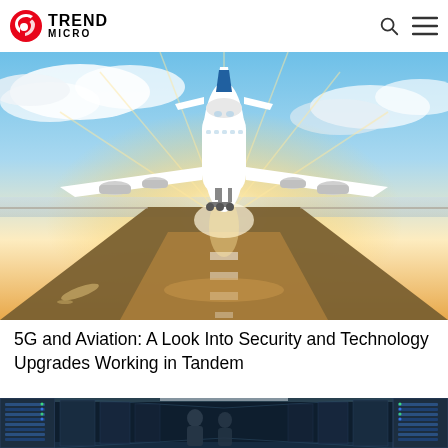Trend Micro
[Figure (photo): Large commercial airplane (Airbus A380 style) landing or taking off above a wet runway during golden hour sunset, dramatic light rays visible on the tarmac, blue sky with clouds]
5G and Aviation: A Look Into Security and Technology Upgrades Working in Tandem
[Figure (photo): Data center corridor with server racks and a person working, blue-toned lighting]